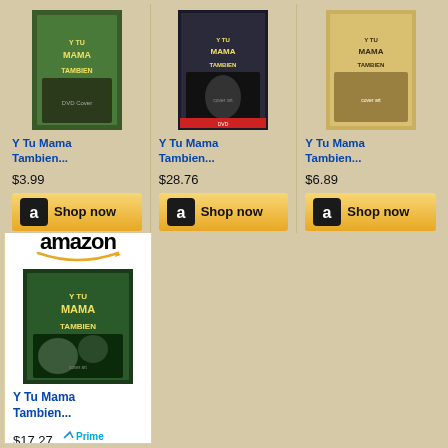[Figure (screenshot): Amazon product listing for 'Y Tu Mama Tambien' DVD, price $3.99, Shop now button]
[Figure (screenshot): Amazon product listing for 'Y Tu Mama Tambien' DVD, price $28.76, Shop now button]
[Figure (screenshot): Amazon product listing for 'Y Tu Mama Tambien' DVD, price $6.89, Shop now button]
[Figure (screenshot): Amazon product listing for 'Y Tu Mama Tambien' DVD with Amazon header, price $17.27 with Prime badge, Shop now button]